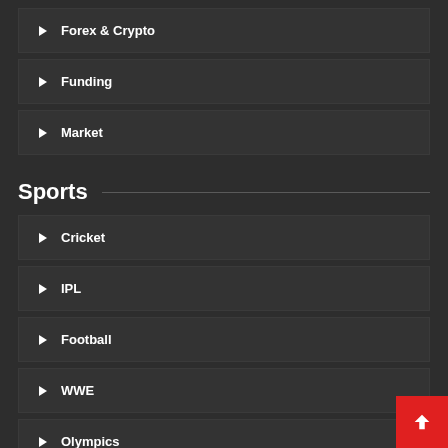Forex & Crypto
Funding
Market
Sports
Cricket
IPL
Football
WWE
Olympics
Tennis